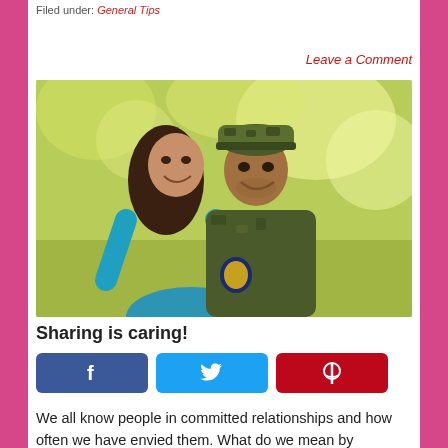Filed under: General Tips
Leave a Comment
[Figure (photo): A smiling couple — a young woman hugging a man from behind who is wearing a military camouflage uniform and cap, outdoors with a blurred green background]
Sharing is caring!
We all know people in committed relationships and how often we have envied them. What do we mean by committed? Most couples are together because